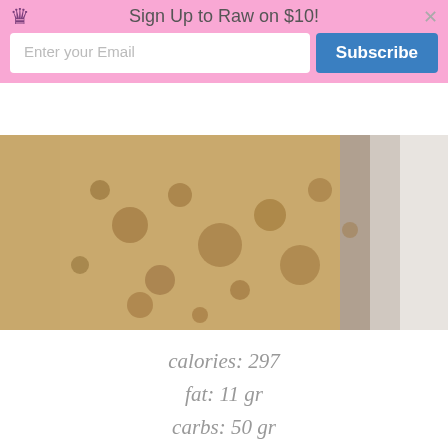[Figure (screenshot): Pink email subscription banner overlay with crown icon, 'Sign Up to Raw on $10!' text, email input field, Subscribe button, and X close button]
[Figure (photo): Close-up photo of a creamy bubbly liquid (possibly a soup or beverage) in a bowl with a white dish visible on the right side]
calories: 297
fat: 11 gr
carbs: 50 gr
protein: 4 gr
[Figure (illustration): Ornamental decorative divider with scrollwork and fleur-de-lis style center motif in black]